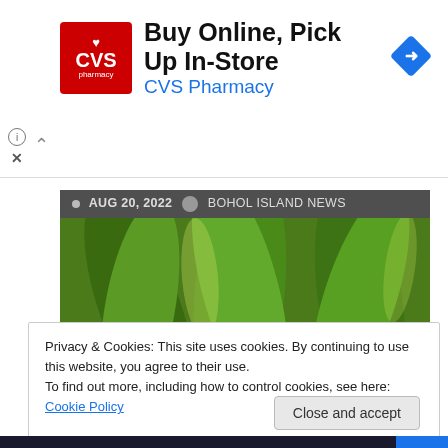[Figure (screenshot): CVS Pharmacy advertisement banner: red CVS pharmacy logo on left, bold text 'Buy Online, Pick Up In-Store' with blue 'CVS Pharmacy' subtitle, blue diamond navigation icon on right]
AUG 20, 2022   BOHOL ISLAND NEWS
[Figure (photo): Photo of coconut palm seedlings/young coconut trees with green leaves against a background of rocks and more plants]
LOCAL
NEWS
UNCATEGORIZED
PCA rolls-out plan for P75B coco levy fund utilization
Privacy & Cookies: This site uses cookies. By continuing to use this website, you agree to their use.
To find out more, including how to control cookies, see here: Cookie Policy
Close and accept